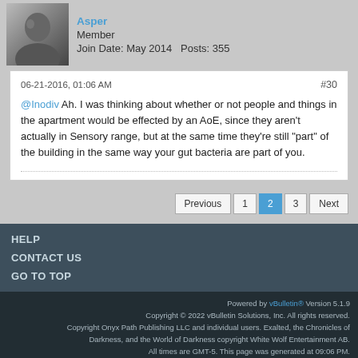Asper
Member
Join Date: May 2014   Posts: 355
06-21-2016, 01:06 AM  #30
@Inodiv Ah. I was thinking about whether or not people and things in the apartment would be effected by an AoE, since they aren't actually in Sensory range, but at the same time they're still "part" of the building in the same way your gut bacteria are part of you.
Previous  1  2  3  Next
HELP
CONTACT US
GO TO TOP
Powered by vBulletin® Version 5.1.9
Copyright © 2022 vBulletin Solutions, Inc. All rights reserved.
Copyright Onyx Path Publishing LLC and individual users. Exalted, the Chronicles of
Darkness, and the World of Darkness copyright White Wolf Entertainment AB.
All times are GMT-5. This page was generated at 09:06 PM.